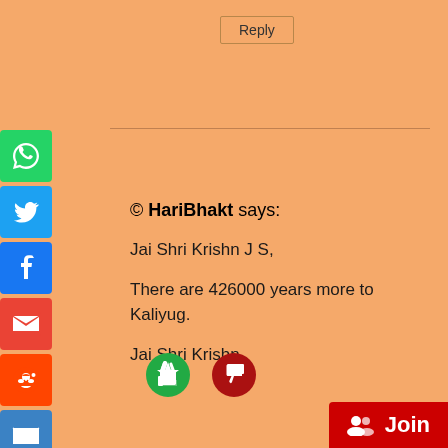Reply
[Figure (infographic): Social media sharing sidebar with icons: WhatsApp, Twitter, Facebook, Gmail, Reddit, Email, Pinterest, Tumblr, LinkedIn, More]
© HariBhakt says:
Jai Shri Krishn J S,

There are 426000 years more to Kaliyug.

Jai Shri Krishn
[Figure (illustration): Thumbs up (green) and thumbs down (red/dark) voting buttons]
Reply
Join